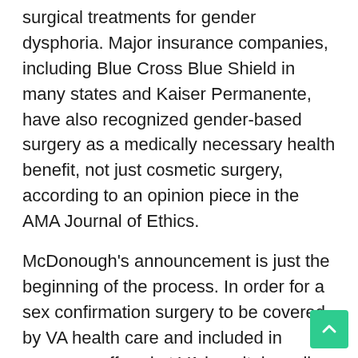surgical treatments for gender dysphoria. Major insurance companies, including Blue Cross Blue Shield in many states and Kaiser Permanente, have also recognized gender-based surgery as a medically necessary health benefit, not just cosmetic surgery, according to an opinion piece in the AMA Journal of Ethics.
McDonough's announcement is just the beginning of the process. In order for a sex confirmation surgery to be covered by VA health care and included in coverage offered at VA hospitals, policy changes will need to be made. The process of creating a new federal regulation can take years. The VA plans to begin the state rulemaking process this summer to make that change, a VA spokesman said.
“There are several steps to be taken and it will take time,” said McDonough. “But we are moving methodically because we want this important change in policy to be implemented in a way that has been carefully considered to ensure that the services provided to veterans meet VA’s rigorous standards for quality